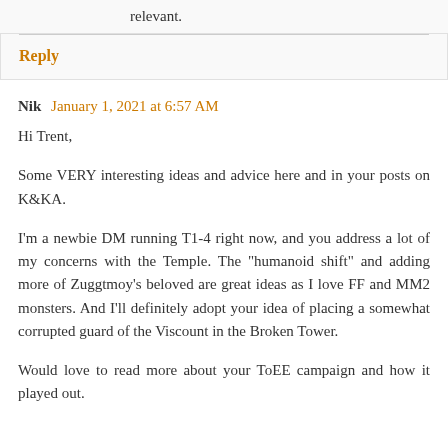relevant.
Reply
Nik  January 1, 2021 at 6:57 AM
Hi Trent,
Some VERY interesting ideas and advice here and in your posts on K&KA.
I'm a newbie DM running T1-4 right now, and you address a lot of my concerns with the Temple. The "humanoid shift" and adding more of Zuggtmoy's beloved are great ideas as I love FF and MM2 monsters. And I'll definitely adopt your idea of placing a somewhat corrupted guard of the Viscount in the Broken Tower.
Would love to read more about your ToEE campaign and how it played out.